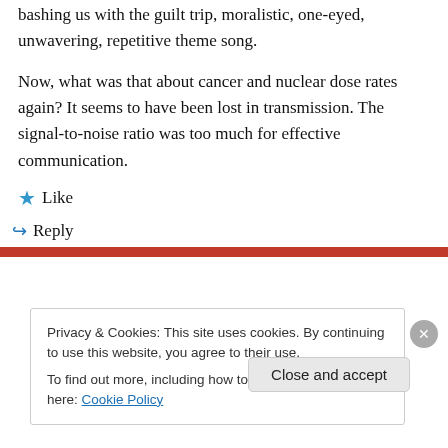bashing us with the guilt trip, moralistic, one-eyed, unwavering, repetitive theme song.
Now, what was that about cancer and nuclear dose rates again? It seems to have been lost in transmission. The signal-to-noise ratio was too much for effective communication.
★ Like
↪ Reply
Privacy & Cookies: This site uses cookies. By continuing to use this website, you agree to their use.
To find out more, including how to control cookies, see here: Cookie Policy
Close and accept